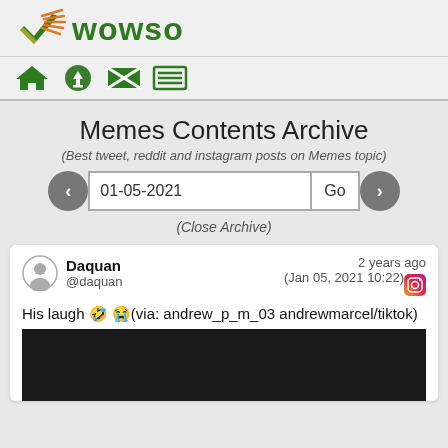[Figure (logo): WOWSO logo with green checkmark and orange burst icon and green text 'WOWSO']
[Figure (infographic): Navigation bar with home, download, email/envelope, and menu icons]
Memes Contents Archive
(Best tweet, reddit and instagram posts on Memes topic)
01-05-2021
(Close Archive)
Daquan @daquan — 2 years ago (Jan 05, 2021 10:22) — His laugh 🤣 😭(via: andrew_p_m_03 andrewmarcel/tiktok)